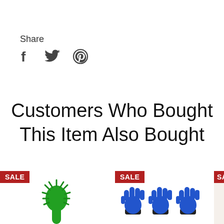Share
[Figure (infographic): Social media share icons: Facebook (f), Twitter (bird), Pinterest (p)]
Customers Who Bought This Item Also Bought
[Figure (photo): Product item with SALE badge - green rubber dog toothbrush/chew toy]
[Figure (photo): Product item with SALE badge - three blue pet grooming gloves]
[Figure (photo): Product item with SALE badge - partially visible product on right edge]